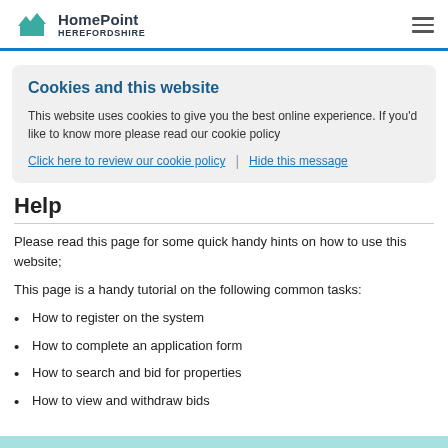HomePoint HEREFORDSHIRE
Cookies and this website
This website uses cookies to give you the best online experience. If you'd like to know more please read our cookie policy
Click here to review our cookie policy | Hide this message
Help
Please read this page for some quick handy hints on how to use this website;
This page is a handy tutorial on the following common tasks:
How to register on the system
How to complete an application form
How to search and bid for properties
How to view and withdraw bids